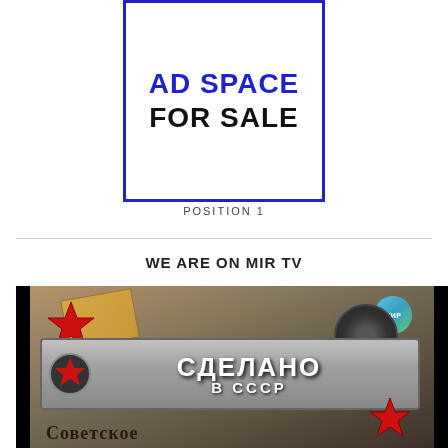[Figure (other): Ad space for sale box with blue border, showing 'AD SPACE FOR SALE' text in blue and black]
POSITION 1
WE ARE ON MIR TV
[Figure (photo): TV screenshot showing a Russian TV show 'Сделано в СССР' (Made in the USSR) on MIR TV channel, with Soviet-era imagery and Cyrillic text reading 'СДЕЛАНО В СССР' and 'Советское']